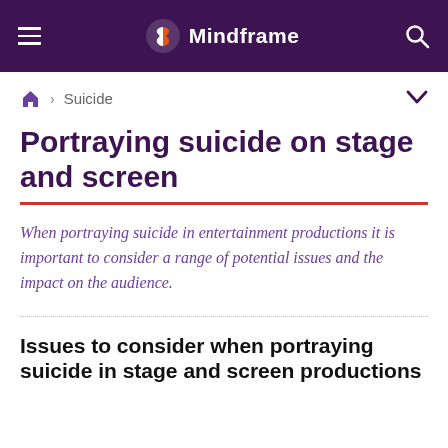Mindframe
Home › Suicide
Portraying suicide on stage and screen
When portraying suicide in entertainment productions it is important to consider a range of potential issues and the impact on the audience.
Issues to consider when portraying suicide in stage and screen productions